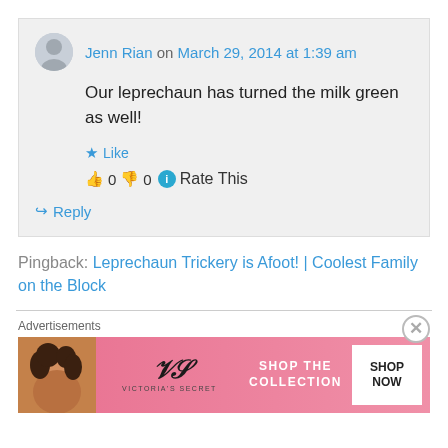Jenn Rian on March 29, 2014 at 1:39 am
Our leprechaun has turned the milk green as well!
Like
👍 0 👎 0 ℹ Rate This
↪ Reply
Pingback: Leprechaun Trickery is Afoot! | Coolest Family on the Block
Advertisements
[Figure (photo): Victoria's Secret advertisement banner with model, VS logo, 'SHOP THE COLLECTION' text and 'SHOP NOW' button]